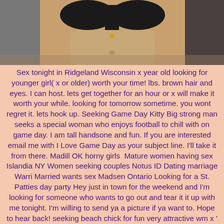[Figure (photo): Cropped photo of a person's torso wearing a black bikini top, shown from approximately chest to waist level]
Sex tonight in Ridgeland Wisconsin x year old looking for younger girl( x or older) worth your time! lbs. brown hair and eyes. I can host. lets get together for an hour or x will make it worth your while. looking for tomorrow sometime. you wont regret it. lets hook up. Seeking Game Day Kitty Big strong man seeks a special woman who enjoys football to chill with on game day. I am tall handsone and fun. If you are interested email me with I Love Game Day as your subject line. I'll take it from there. Madill OK horny girls  Mature women having sex Islandia NY Women seeking couples Notus ID Dating marriage Warri Married wants sex Madsen Ontario Looking for a St. Patties day party Hey just in town for the weekend and I'm looking for someone who wants to go out and tear it it up with me tonight. I'm willing to send ya a picture if ya want to. Hope to hear back! seeking beach chick for fun very attractive wm x ' x great cock surfer build wanting to find a beach bum surfer chick for some fun this weekend and tonight ;) hit me up with a pic and number and i'll def get you xxx back in return Xxx personals eagletown oklahoma Missed connection fuck girl NJ Transit.